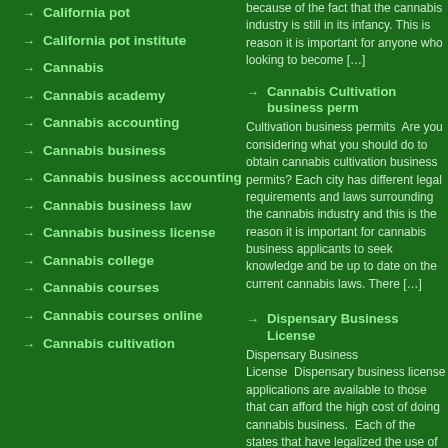California pot
California pot institute
Cannabis
Cannabis academy
Cannabis accounting
Cannabis business
Cannabis business accounting
Cannabis business law
Cannabis business license
Cannabis college
Cannabis courses
Cannabis courses online
Cannabis cultivation
because of the fact that the cannabis industry is still in its infancy. This is reason it is important for anyone who looking to become […]
Cannabis Cultivation business permits Cannabis Cultivation business permits  Are you considering what you should do to obtain cannabis cultivation business permits? Each city has different legal requirements and laws surrounding the cannabis industry and this is the reason it is important for cannabis business applicants to seek knowledge and be up to date on the current cannabis laws. There […]
Dispensary Business License Dispensary Business License  Dispensary business license applications are available to those that can afford the high cost of doing cannabis business. Each of the states that have legalized the use of cannabis either for recreational or medical purpose allow only a limited number of dispensary businesses to be set up. Depending on the state […]